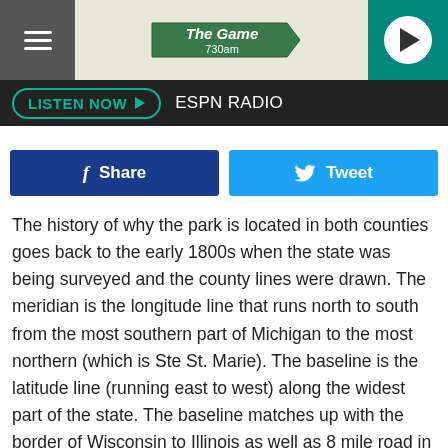[Figure (screenshot): Top navigation bar with hamburger menu on left, 'The Game 730am' logo in center on beige background, and green play button circle on right]
LISTEN NOW ▶  ESPN RADIO
[Figure (other): Facebook Share button (dark blue) and Twitter Tweet button (light blue)]
The history of why the park is located in both counties goes back to the early 1800s when the state was being surveyed and the county lines were drawn. The meridian is the longitude line that runs north to south from the most southern part of Michigan to the most northern (which is Ste St. Marie). The baseline is the latitude line (running east to west) along the widest part of the state. The baseline matches up with the border of Wisconsin to Illinois as well as 8 mile road in Detroit.
This park is where the baseline and meridian meet; the